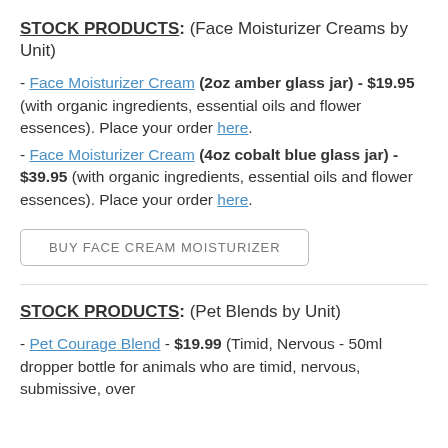STOCK PRODUCTS: (Face Moisturizer Creams by Unit)
- Face Moisturizer Cream (2oz amber glass jar) - $19.95 (with organic ingredients, essential oils and flower essences). Place your order here.
- Face Moisturizer Cream (4oz cobalt blue glass jar) - $39.95 (with organic ingredients, essential oils and flower essences). Place your order here.
BUY FACE CREAM MOISTURIZER
STOCK PRODUCTS: (Pet Blends by Unit)
- Pet Courage Blend - $19.99 (Timid, Nervous - 50ml dropper bottle for animals who are timid, nervous, submissive, over